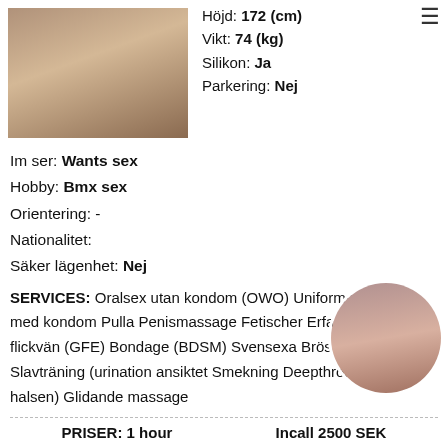[Figure (photo): Photo of a person, cropped, warm tones]
Höjd: 172 (cm)
Vikt: 74 (kg)
Silikon: Ja
Parkering: Nej
Im ser: Wants sex
Hobby: Bmx sex
Orientering: -
Nationalitet:
Säker lägenhet: Nej
SERVICES: Oralsex utan kondom (OWO) Uniforms Oralsex med kondom Pulla Penismassage Fetischer Erfarenhet av flickvän (GFE) Bondage (BDSM) Svensexa Bröstknulla Slavträning (urination) ansiktet Smekning Deepthroat (djupt i halsen) Glidande massage
[Figure (photo): Circle portrait photo of a woman]
PRISER: 1 hour
Incall 2500 SEK